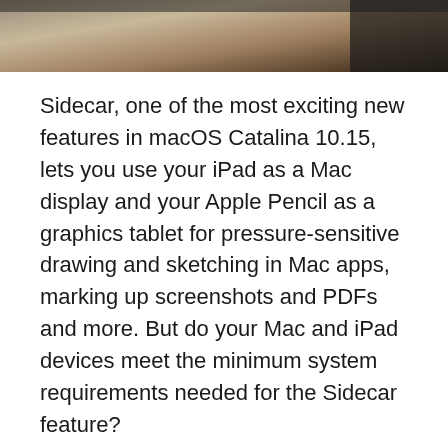[Figure (photo): Partial photo of a person working at a wooden desk, showing a dark background at top right, cropped at top of page]
Sidecar, one of the most exciting new features in macOS Catalina 10.15, lets you use your iPad as a Mac display and your Apple Pencil as a graphics tablet for pressure-sensitive drawing and sketching in Mac apps, marking up screenshots and PDFs and more. But do your Mac and iPad devices meet the minimum system requirements needed for the Sidecar feature?
As mentioned, Sidecar enables Catalina users to extend their Mac desktop by using their iPad as a second display or even as a high-precision input device across creative Mac apps.